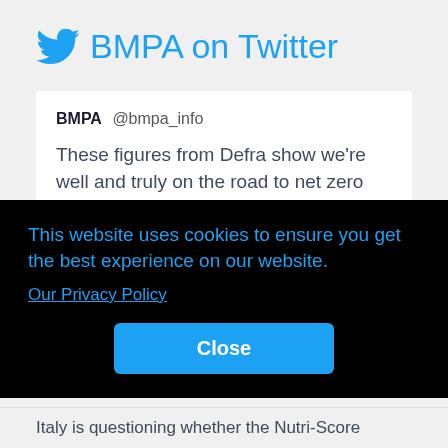BMPA on Twitter
BMPA @bmpa_info
These figures from Defra show we're well and truly on the road to net zero here in the UK. We already have some of the most sustainable animal production in the world. And it's innovative farming methods like methane-
This website uses cookies to ensure you get the best experience on our website. Our Privacy Policy
Close
Italy is questioning whether the Nutri-Score